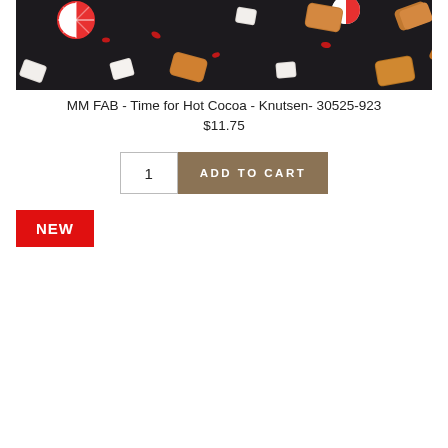[Figure (photo): Dark background with assorted candies: peppermint swirls, caramels, and white marshmallows scattered across a black surface]
MM FAB - Time for Hot Cocoa - Knutsen- 30525-923
$11.75
1  ADD TO CART
NEW